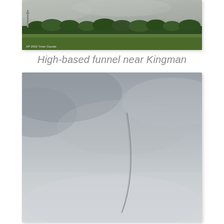[Figure (photo): Landscape photo showing a flat grassy field with a line of trees along the horizon beneath an overcast sky. A small watermark or credit text appears in the lower left corner reading 'AP 2002 Yicter Gaodei' or similar.]
High-based funnel near Kingman
[Figure (photo): Photograph of an overcast grey sky with a very faint, thin funnel cloud or rope-like formation descending from the clouds. The funnel is barely visible as a thin curved line against the grey sky background.]